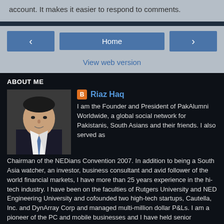account. It makes it easier to respond to comments.
Home
View web version
ABOUT ME
Riaz Haq
I am the Founder and President of PakAlumni Worldwide, a global social network for Pakistanis, South Asians and their friends. I also served as Chairman of the NEDians Convention 2007. In addition to being a South Asia watcher, an investor, business consultant and avid follower of the world financial markets, I have more than 25 years experience in the hi-tech industry. I have been on the faculties of Rutgers University and NED Engineering University and cofounded two high-tech startups, Cautella, Inc. and DynArray Corp and managed multi-million dollar P&Ls. I am a pioneer of the PC and mobile businesses and I have held senior management positions in hardware and software development of Intel's microprocessor